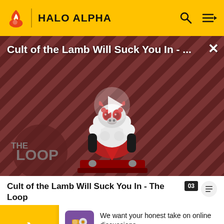HALO ALPHA
[Figure (screenshot): Video thumbnail for 'Cult of the Lamb Will Suck You In - The Loop' showing a cartoon lamb character with red eyes on a striped red/brown background with a play button overlay and 'THE LOOP' logo in lower left]
Cult of the Lamb Will Suck You In - The Loop
in the
of the
Evan
[Figure (infographic): Survey advertisement: purple icon with game character. Text: 'We want your honest take on online discussions'. Link: 'SURVEY: ONLINE FORUMS']